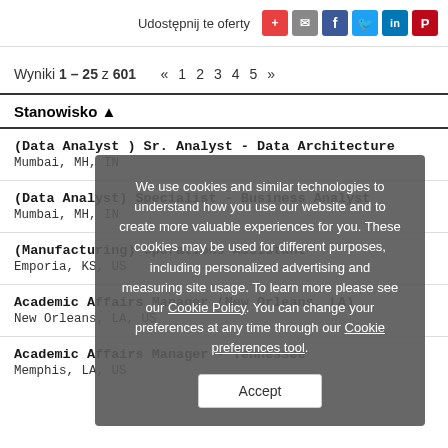Udostępnij te oferty
Wyniki 1 – 25 z 601  «  1  2  3  4  5  »
Stanowisko ▲
(Data Analyst ) Sr. Analyst - Data Architecture
Mumbai, MH, IN
(Data Analyst) Specialist - Business Analyst
Mumbai, MH, IN
(Manufacturing) Operations Assistant
Emporia, KS, US
Academic Affairs Manager (New Orleans, LA)
New Orleans, LA, US
Academic Affairs Manager - Tennessee
Memphis, LA, US
We use cookies and similar technologies to understand how you use our website and to create more valuable experiences for you. These cookies may be used for different purposes, including personalized advertising and measuring site usage. To learn more please see our Cookie Policy. You can change your preferences at any time through our Cookie preferences tool.